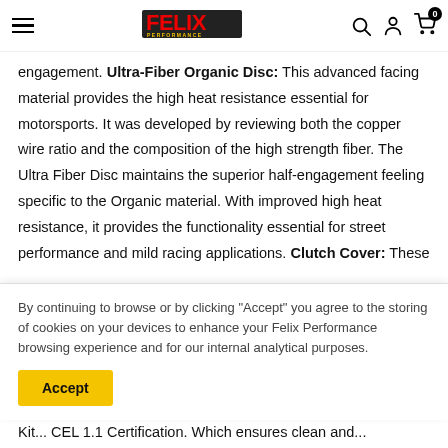Felix Performance — navigation header with hamburger menu, logo, search, account, and cart icons
engagement. Ultra-Fiber Organic Disc: This advanced facing material provides the high heat resistance essential for motorsports. It was developed by reviewing both the copper wire ratio and the composition of the high strength fiber. The Ultra Fiber Disc maintains the superior half-engagement feeling specific to the Organic material. With improved high heat resistance, it provides the functionality essential for street performance and mild racing applications. Clutch Cover: These
By continuing to browse or by clicking "Accept" you agree to the storing of cookies on your devices to enhance your Felix Performance browsing experience and for our internal analytical purposes.
Accept
Kit... CEL 1.1 Certification. Which ensures clean and...